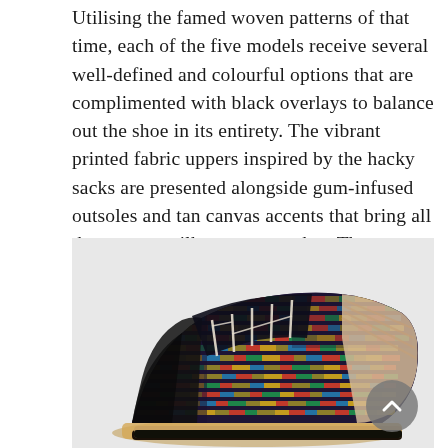Utilising the famed woven patterns of that time, each of the five models receive several well-defined and colourful options that are complimented with black overlays to balance out the shoe in its entirety. The vibrant printed fabric uppers inspired by the hacky sacks are presented alongside gum-infused outsoles and tan canvas accents that bring all the separate silhouettes together. The complete Nike SB 'Hacky Sack' Pack will be launching this coming Saturday 10th May online at 8:00am BST via direct links on our Facebook and Twitter pages. Each of the five models will also be available in the stores stated below and priced respectively.
[Figure (photo): A Nike SB sneaker with colorful woven/hacky sack patterned fabric upper featuring dark navy/purple base with multicolor geometric woven pattern, black overlays, laces, tan canvas collar lining, and gum outsole. The shoe is shown from a side/three-quarter angle on a light background. A gray scroll-up button overlay appears at the bottom right.]